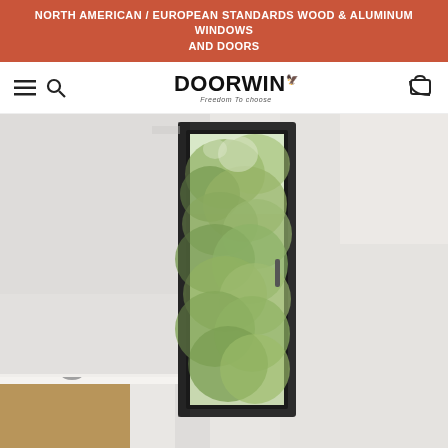NORTH AMERICAN / EUROPEAN STANDARDS WOOD & ALUMINUM WINDOWS AND DOORS
[Figure (logo): Doorwin logo with hamburger menu, search icon, and cart icon in navigation bar]
[Figure (photo): Interior photo of a modern bathroom with a tall narrow dark-framed casement window showing green trees outside, white walls, and a silver faucet on a white countertop in the lower left]